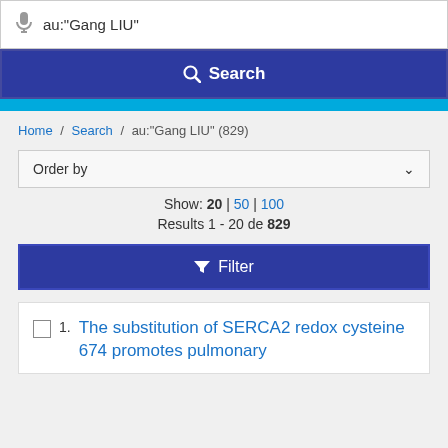au:"Gang LIU"
Search
Home / Search / au:"Gang LIU" (829)
Order by
Show: 20 | 50 | 100
Results 1 - 20 de 829
Filter
The substitution of SERCA2 redox cysteine 674 promotes pulmonary